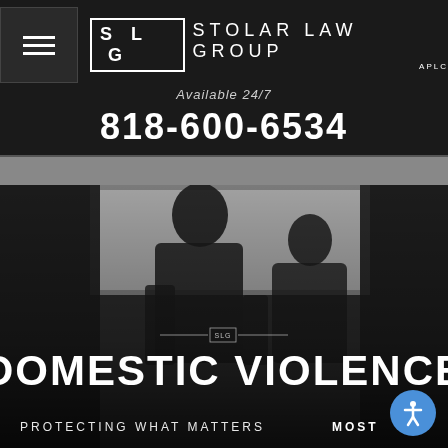SLG STOLAR LAW GROUP APLC — Available 24/7
818-600-6534
[Figure (photo): Dark moody photograph of two silhouetted figures facing each other in a confrontational pose, suggesting domestic conflict, with a window and blurred interior background]
DOMESTIC VIOLENCE
PROTECTING WHAT MATTERS MOST